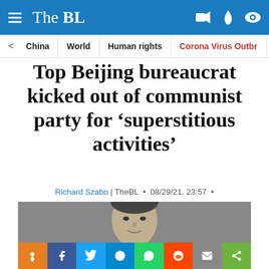The BL
China | World | Human rights | Corona Virus Outbr
Top Beijing bureaucrat kicked out of communist party for 'superstitious activities'
Richard Szabo | TheBL  •  08/29/21, 23:57  •
[Figure (photo): Black and white photo of a Chinese official, head and shoulders, older Asian man in suit]
[Figure (infographic): Social share buttons row: orange pin, Facebook, Twitter, Telegram, WhatsApp, Reddit, email, share]